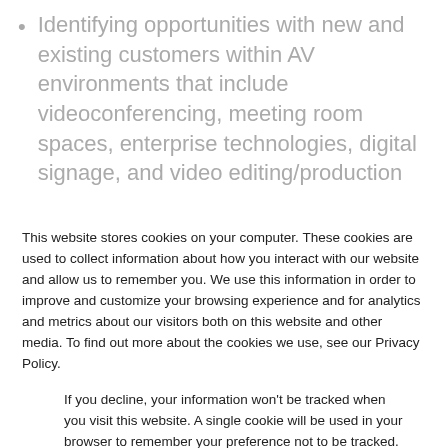Identifying opportunities with new and existing customers within AV environments that include videoconferencing, meeting room spaces, enterprise technologies, digital signage, and video editing/production
Establishing Key Accounts and building on our already substantial client base with new…
This website stores cookies on your computer. These cookies are used to collect information about how you interact with our website and allow us to remember you. We use this information in order to improve and customize your browsing experience and for analytics and metrics about our visitors both on this website and other media. To find out more about the cookies we use, see our Privacy Policy.
If you decline, your information won't be tracked when you visit this website. A single cookie will be used in your browser to remember your preference not to be tracked.
Accept
Decline